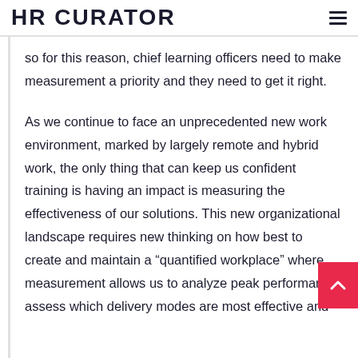HR CURATOR
so for this reason, chief learning officers need to make measurement a priority and they need to get it right.
As we continue to face an unprecedented new work environment, marked by largely remote and hybrid work, the only thing that can keep us confident training is having an impact is measuring the effectiveness of our solutions. This new organizational landscape requires new thinking on how best to create and maintain a “quantified workplace” where measurement allows us to analyze peak performance, assess which delivery modes are most effective and